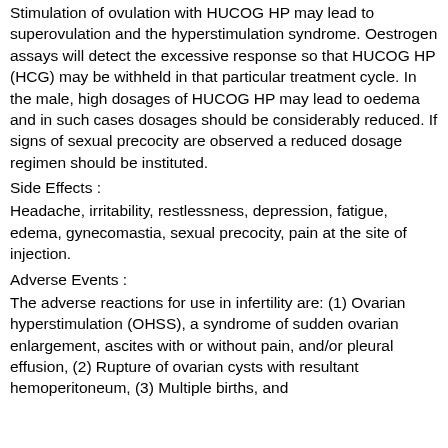Stimulation of ovulation with HUCOG HP may lead to superovulation and the hyperstimulation syndrome. Oestrogen assays will detect the excessive response so that HUCOG HP (HCG) may be withheld in that particular treatment cycle. In the male, high dosages of HUCOG HP may lead to oedema and in such cases dosages should be considerably reduced. If signs of sexual precocity are observed a reduced dosage regimen should be instituted.
Side Effects :
Headache, irritability, restlessness, depression, fatigue, edema, gynecomastia, sexual precocity, pain at the site of injection.
Adverse Events :
The adverse reactions for use in infertility are: (1) Ovarian hyperstimulation (OHSS), a syndrome of sudden ovarian enlargement, ascites with or without pain, and/or pleural effusion, (2) Rupture of ovarian cysts with resultant hemoperitoneum, (3) Multiple births, and